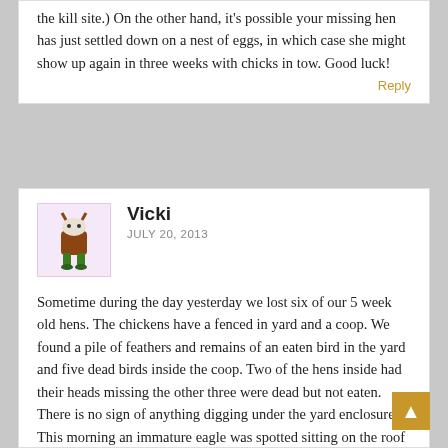the kill site.) On the other hand, it's possible your missing hen has just settled down on a nest of eggs, in which case she might show up again in three weeks with chicks in tow. Good luck!
Reply
Vicki
JULY 20, 2013
[Figure (illustration): Small cartoon avatar of a brown creature with green legs and white fluffy top, on a pink/light purple background]
Sometime during the day yesterday we lost six of our 5 week old hens. The chickens have a fenced in yard and a coop. We found a pile of feathers and remains of an eaten bird in the yard and five dead birds inside the coop. Two of the hens inside had their heads missing the other three were dead but not eaten. There is no sign of anything digging under the yard enclosure. This morning an immature eagle was spotted sitting on the roof of the hen house. Would a